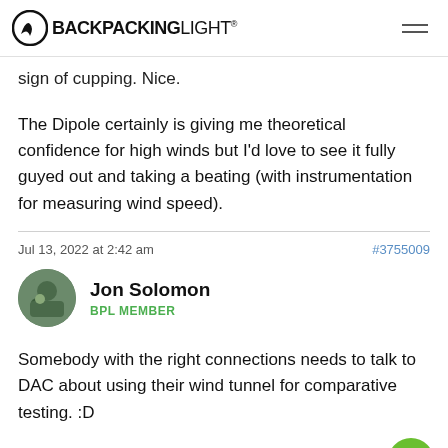BACKPACKINGLIGHT
sign of cupping. Nice.
The Dipole certainly is giving me theoretical confidence for high winds but I'd love to see it fully guyed out and taking a beating (with instrumentation for measuring wind speed).
Jul 13, 2022 at 2:42 am
#3755009
Jon Solomon
BPL MEMBER
Somebody with the right connections needs to talk to DAC about using their wind tunnel for comparative testing. :D
Jul 13, 2022 at 7:23 am
#3755013